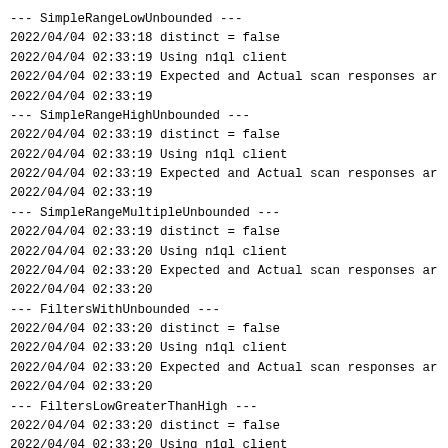--- SimpleRangeLowUnbounded ---
2022/04/04 02:33:18 distinct = false
2022/04/04 02:33:19 Using n1ql client
2022/04/04 02:33:19 Expected and Actual scan responses ar
2022/04/04 02:33:19
--- SimpleRangeHighUnbounded ---
2022/04/04 02:33:19 distinct = false
2022/04/04 02:33:19 Using n1ql client
2022/04/04 02:33:19 Expected and Actual scan responses ar
2022/04/04 02:33:19
--- SimpleRangeMultipleUnbounded ---
2022/04/04 02:33:19 distinct = false
2022/04/04 02:33:20 Using n1ql client
2022/04/04 02:33:20 Expected and Actual scan responses ar
2022/04/04 02:33:20
--- FiltersWithUnbounded ---
2022/04/04 02:33:20 distinct = false
2022/04/04 02:33:20 Using n1ql client
2022/04/04 02:33:20 Expected and Actual scan responses ar
2022/04/04 02:33:20
--- FiltersLowGreaterThanHigh ---
2022/04/04 02:33:20 distinct = false
2022/04/04 02:33:20 Using n1ql client
2022/04/04 02:33:20 Expected and Actual scan responses ar
2022/04/04 02:33:20

-------- Simple Index with 1 field --------
2022/04/04 02:33:20
--- SingleIndexSimpleRange ---
2022/04/04 02:33:20 distinct = true